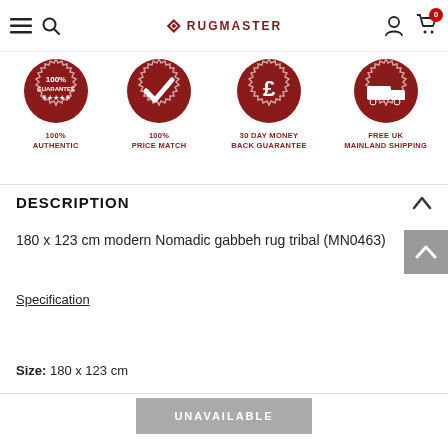RUGMASTER
[Figure (infographic): Four dark red circular trust badge icons: 100% Guarantee (5 stars), 100% Price Match (checkmark), 30 Day Money Back Guarantee (£ symbol), Free UK Mainland Shipping (delivery truck)]
DESCRIPTION
180 x 123 cm modern Nomadic gabbeh rug tribal (MN0463)
Specification
Size: 180 x 123 cm
UNAVAILABLE